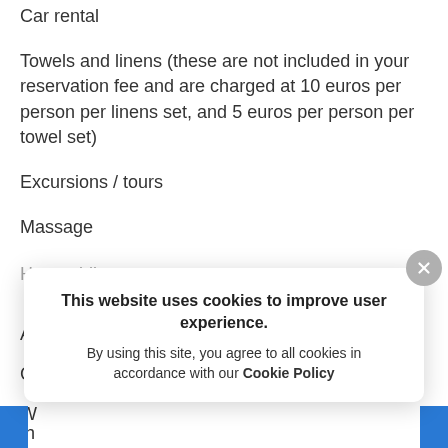Car rental
Towels and linens (these are not included in your reservation fee and are charged at 10 euros per person per linens set, and 5 euros per person per towel set)
Excursions / tours
Massage
Horse riding
Ai
Co
W
This website uses cookies to improve user experience. By using this site, you agree to all cookies in accordance with our Cookie Policy
th